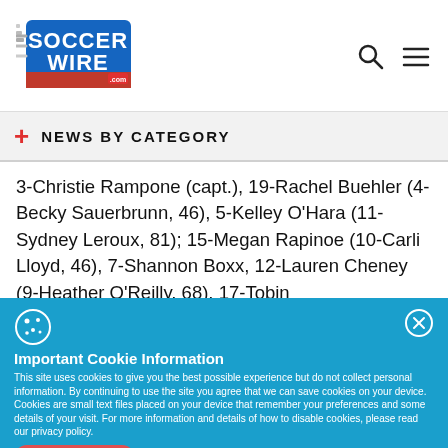[Figure (logo): SoccerWire.com logo with soccer ball and speed lines, blue and red text]
NEWS BY CATEGORY
3-Christie Rampone (capt.), 19-Rachel Buehler (4-Becky Sauerbrunn, 46), 5-Kelley O'Hara (11-Sydney Leroux, 81); 15-Megan Rapinoe (10-Carli Lloyd, 46), 7-Shannon Boxx, 12-Lauren Cheney (9-Heather O'Reilly, 68), 17-Tobin
Important Cookie Information
This site uses cookies to give you the best possible experience but do not collect personal information. By continuing to use the site you agree that we can save cookies on your device. Cookies are small text files placed on your device that remember your preferences and some details of your visit. For more information and details of how to disable cookies, please read our privacy policy.